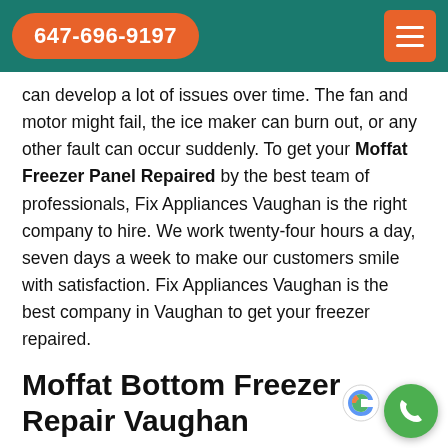647-696-9197
can develop a lot of issues over time. The fan and motor might fail, the ice maker can burn out, or any other fault can occur suddenly. To get your Moffat Freezer Panel Repaired by the best team of professionals, Fix Appliances Vaughan is the right company to hire. We work twenty-four hours a day, seven days a week to make our customers smile with satisfaction. Fix Appliances Vaughan is the best company in Vaughan to get your freezer repaired.
Moffat Bottom Freezer Repair Vaughan
The bottom freezer can also develop a lot of i…